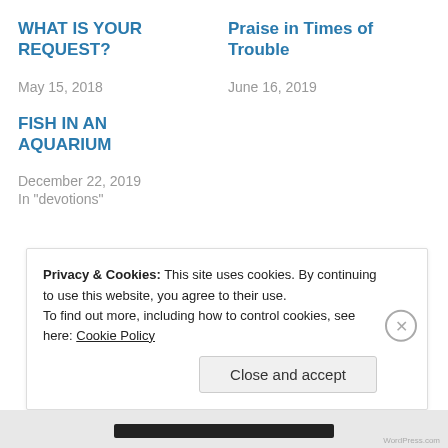WHAT IS YOUR REQUEST?
May 15, 2018
Praise in Times of Trouble
June 16, 2019
FISH IN AN AQUARIUM
December 22, 2019
In "devotions"
Privacy & Cookies: This site uses cookies. By continuing to use this website, you agree to their use.
To find out more, including how to control cookies, see here: Cookie Policy
Close and accept